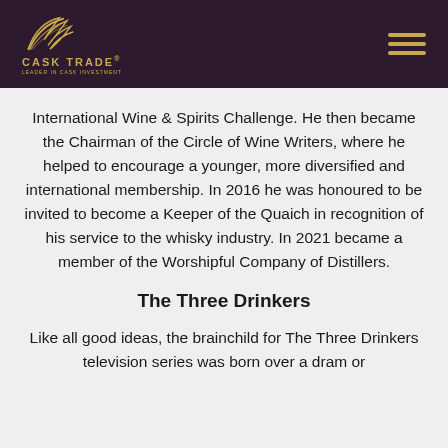CASK TRADE
International Wine & Spirits Challenge. He then became the Chairman of the Circle of Wine Writers, where he helped to encourage a younger, more diversified and international membership. In 2016 he was honoured to be invited to become a Keeper of the Quaich in recognition of his service to the whisky industry. In 2021 became a member of the Worshipful Company of Distillers.
The Three Drinkers
Like all good ideas, the brainchild for The Three Drinkers television series was born over a dram or